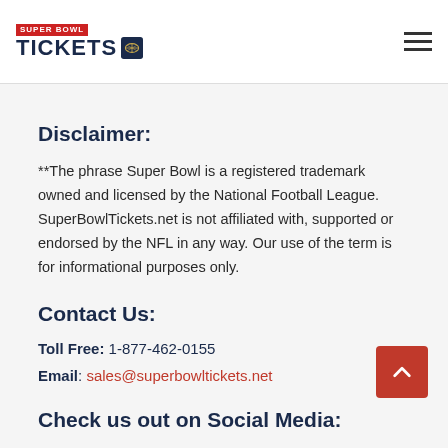SUPER BOWL TICKETS
Disclaimer:
**The phrase Super Bowl is a registered trademark owned and licensed by the National Football League. SuperBowlTickets.net is not affiliated with, supported or endorsed by the NFL in any way. Our use of the term is for informational purposes only.
Contact Us:
Toll Free: 1-877-462-0155
Email: sales@superbowltickets.net
Check us out on Social Media: